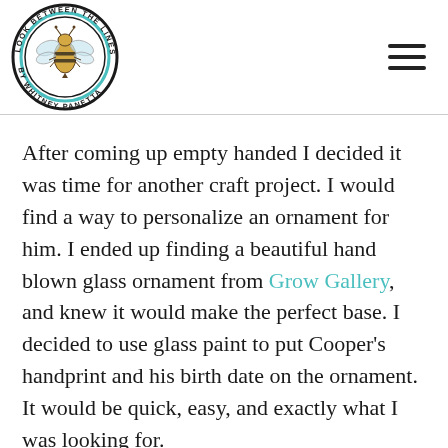[Figure (logo): Circular logo reading 'LOOK BETWEEN THE LINES BY WHITNEY PANETTA' around the border with a detailed bee illustration in the center, teal and black color scheme]
After coming up empty handed I decided it was time for another craft project. I would find a way to personalize an ornament for him. I ended up finding a beautiful hand blown glass ornament from Grow Gallery, and knew it would make the perfect base. I decided to use glass paint to put Cooper's handprint and his birth date on the ornament. It would be quick, easy, and exactly what I was looking for.